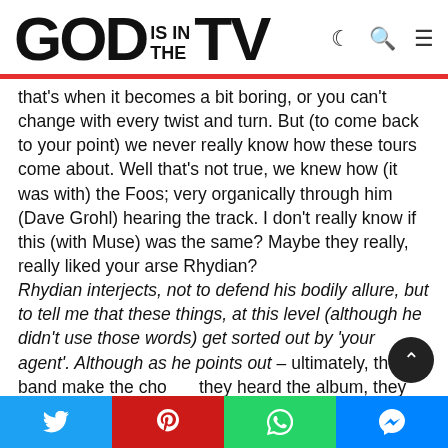GOD IS IN THE TV
that's when it becomes a bit boring, or you can't change with every twist and turn. But (to come back to your point) we never really know how these tours come about. Well that's not true, we knew how (it was with) the Foos; very organically through him (Dave Grohl) hearing the track. I don't really know if this (with Muse) was the same? Maybe they really, really liked your arse Rhydian? Rhydian interjects, not to defend his bodily allure, but to tell me that these things, at this level (although he didn't use those words) get sorted out by 'your agent'. Although as he points out – ultimately, the band make the choice, they heard the album, they must have liked it. But going